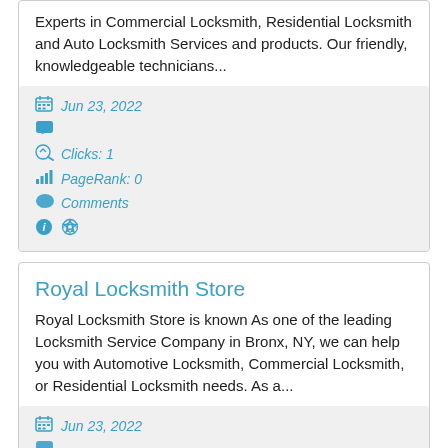Experts in Commercial Locksmith, Residential Locksmith and Auto Locksmith Services and products. Our friendly, knowledgeable technicians...
Jun 23, 2022
Clicks: 1
PageRank: 0
Comments
Royal Locksmith Store
Royal Locksmith Store is known As one of the leading Locksmith Service Company in Bronx, NY, we can help you with Automotive Locksmith, Commercial Locksmith, or Residential Locksmith needs. As a...
Jun 23, 2022
Clicks: 1
PageRank: 0